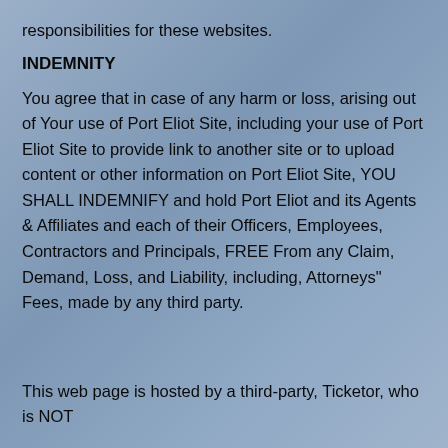responsibilities for these websites.
INDEMNITY
You agree that in case of any harm or loss, arising out of Your use of Port Eliot Site, including your use of Port Eliot Site to provide link to another site or to upload content or other information on Port Eliot Site, YOU SHALL INDEMNIFY and hold Port Eliot and its Agents & Affiliates and each of their Officers, Employees, Contractors and Principals, FREE From any Claim, Demand, Loss, and Liability, including, Attorneys" Fees, made by any third party.
This web page is hosted by a third-party, Ticketor, who is NOT